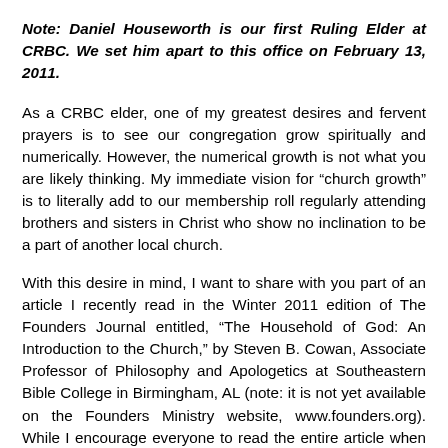Note: Daniel Houseworth is our first Ruling Elder at CRBC. We set him apart to this office on February 13, 2011.
As a CRBC elder, one of my greatest desires and fervent prayers is to see our congregation grow spiritually and numerically. However, the numerical growth is not what you are likely thinking. My immediate vision for “church growth” is to literally add to our membership roll regularly attending brothers and sisters in Christ who show no inclination to be a part of another local church.
With this desire in mind, I want to share with you part of an article I recently read in the Winter 2011 edition of The Founders Journal entitled, “The Household of God: An Introduction to the Church,” by Steven B. Cowan, Associate Professor of Philosophy and Apologetics at Southeastern Bible College in Birmingham, AL (note: it is not yet available on the Founders Ministry website, www.founders.org). While I encourage everyone to read the entire article when it is posted online, there is one part in particular that I want to